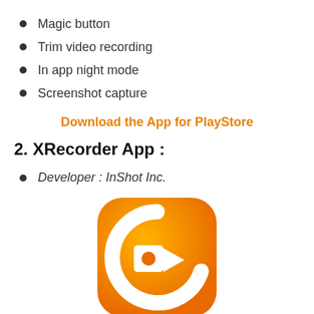Magic button
Trim video recording
In app night mode
Screenshot capture
Download the App for PlayStore
2. XRecorder App :
Developer : InShot Inc.
[Figure (logo): XRecorder app icon — rounded rectangle with orange-to-yellow gradient background, white circular arc and white play/record button shape with orange dot in center]